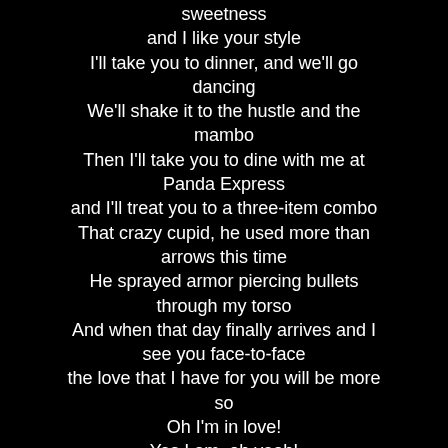sweetness
and I like your style
I'll take you to dinner, and we'll go dancing
We'll shake it to the hustle and the mambo
Then I'll take you to dine with me at Panda Express
and I'll treat you to a three-item combo
That crazy cupid, he used more than arrows this time
He sprayed armor piercing bullets through my torso
And when that day finally arrives and I see you face-to-face
the love that I have for you will be more so
Oh I'm in love!
Yes I am, oh yeah!
Airhead
There's a whistling sound when you